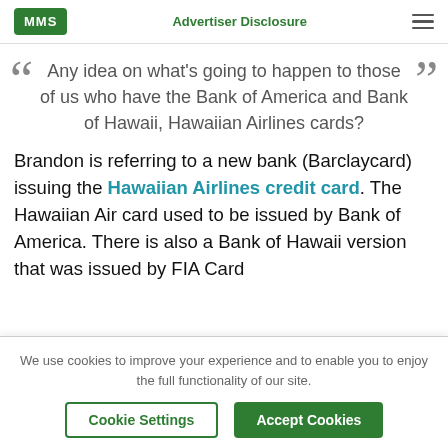MMS | Advertiser Disclosure
Any idea on what's going to happen to those of us who have the Bank of America and Bank of Hawaii, Hawaiian Airlines cards?
Brandon is referring to a new bank (Barclaycard) issuing the Hawaiian Airlines credit card. The Hawaiian Air card used to be issued by Bank of America. There is also a Bank of Hawaii version that was issued by FIA Card
We use cookies to improve your experience and to enable you to enjoy the full functionality of our site.